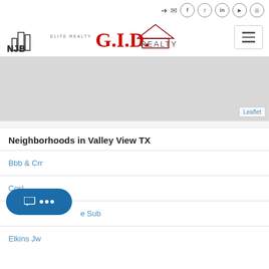Navigation icons: login, mail, facebook, twitter, linkedin, youtube, instagram
[Figure (logo): NJB Elite Realty logo (building silhouette outline) and G.I.D. Realty logo (red text with house roof icon)]
[Figure (map): Gray placeholder map area with Leaflet attribution]
Neighborhoods in Valley View TX
Bbb & Crr
Ccsl
e Sub
Elkins Jw